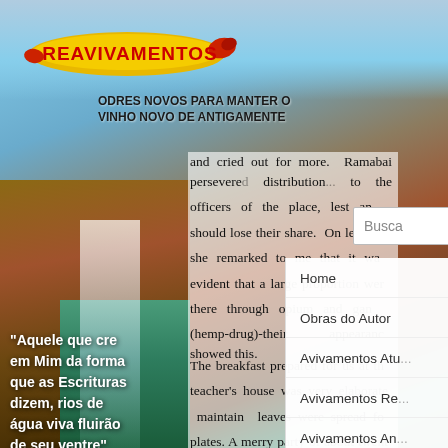[Figure (screenshot): Reavivamentos website screenshot showing logo, background image of waterfall and canyon, article text, search bar, navigation panel, and overlay quote]
REAVIVAMENTOS
ODRES NOVOS PARA MANTER O VINHO NOVO DE ANTIGAMENTE
and cried out for more. Ramabai persevered... distribution... to the officers of the place, lest any should lose their share. On leaving, she remarked to me that it was evident that a large proportion were there through opium and gang (hemp-drug)-their appearance showed this.
The breakfast prepared for us at the teacher's house was very elaborate... leaves were spread fo... plates. A merry party of about twenty sat down to eat the repast, which was strictly vegetarian. One very dish so closely resembled custrd that one could scarcely believe it was made without eggs, but I was assured it was combination of rice and coconut
Busca
Home
Obras do Autor
Avivamentos Atu...
Avivamentos Re...
Avivamentos An...
Bibliotecas
"Aquele que cre em Mim da forma que as Escrituras dizem, rios de água viva fluirão de seu ventre" João 7:38